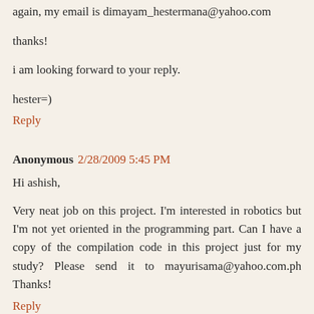again, my email is dimayam_hestermana@yahoo.com
thanks!
i am looking forward to your reply.
hester=)
Reply
Anonymous 2/28/2009 5:45 PM
Hi ashish,
Very neat job on this project. I'm interested in robotics but I'm not yet oriented in the programming part. Can I have a copy of the compilation code in this project just for my study? Please send it to mayurisama@yahoo.com.ph Thanks!
Reply
Anonymous 4/13/2009 9:19 AM